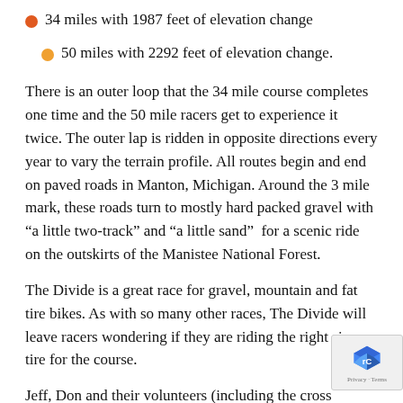34 miles with 1987 feet of elevation change
50 miles with 2292 feet of elevation change.
There is an outer loop that the 34 mile course completes one time and the 50 mile racers get to experience it twice. The outer lap is ridden in opposite directions every year to vary the terrain profile. All routes begin and end on paved roads in Manton, Michigan. Around the 3 mile mark, these roads turn to mostly hard packed gravel with “a little two-track” and “a little sand”  for a scenic ride on the outskirts of the Manistee National Forest.
The Divide is a great race for gravel, mountain and fat tire bikes. As with so many other races, The Divide will leave racers wondering if they are riding the right size tire for the course.
Jeff, Don and their volunteers (including the cross country and track teams) were top notch with ice cold drinks and freeze pops at all aid stations. The course was well marked